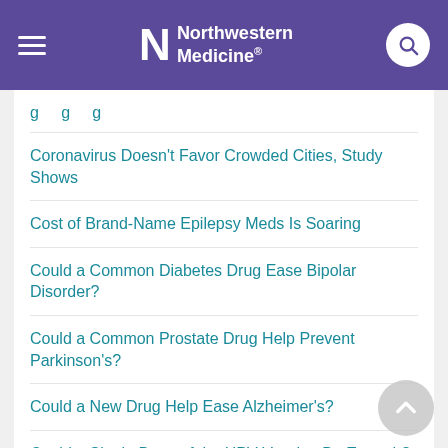Northwestern Medicine
Coronavirus Doesn't Favor Crowded Cities, Study Shows
Cost of Brand-Name Epilepsy Meds Is Soaring
Could a Common Diabetes Drug Ease Bipolar Disorder?
Could a Common Prostate Drug Help Prevent Parkinson's?
Could a New Drug Help Ease Alzheimer's?
Could a Single Dose of the HPV Vaccine Be Enough?
Could a Stressed-Out Pregnancy Hinder a Toddler's Development?
Could ADHD Raise Odds for More Serious...